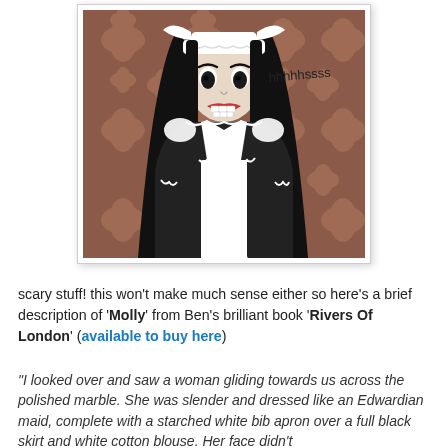[Figure (illustration): Cartoon illustration of a gothic maid character named Molly: a pale girl with long straight black hair, wearing a black and white Edwardian maid uniform with frilly apron and head piece. She has wide dark eyes and an open mouth showing red-lined teeth, hissing. Text 'hhhhhssss' appears to the right of her head. Background is a brownish-red damask wallpaper pattern.]
scary stuff! this won't make much sense either so here's a brief description of 'Molly' from Ben's brilliant book 'Rivers Of London' (available to buy here)
"I looked over and saw a woman gliding towards us across the polished marble. She was slender and dressed like an Edwardian maid, complete with a starched white bib apron over a full black skirt and white cotton blouse. Her face didn't